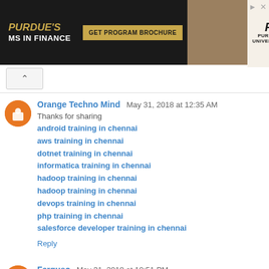[Figure (screenshot): Purdue University MS in Finance advertisement banner with gold text, 'GET PROGRAM BROCHURE' button, photo of a woman, and Purdue logo]
Orange Techno Mind  May 31, 2018 at 12:35 AM
Thanks for sharing
android training in chennai
aws training in chennai
dotnet training in chennai
informatica training in chennai
hadoop training in chennai
hadoop training in chennai
devops training in chennai
php training in chennai
salesforce developer training in chennai
Reply
Ferguso  May 31, 2018 at 10:51 PM
thank you very useful information admin, and pardon me